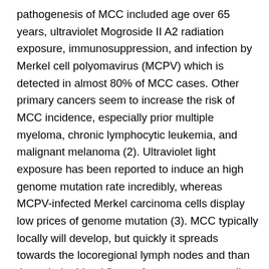pathogenesis of MCC included age over 65 years, ultraviolet Mogroside II A2 radiation exposure, immunosuppression, and infection by Merkel cell polyomavirus (MCPV) which is detected in almost 80% of MCC cases. Other primary cancers seem to increase the risk of MCC incidence, especially prior multiple myeloma, chronic lymphocytic leukemia, and malignant melanoma (2). Ultraviolet light exposure has been reported to induce an high genome mutation rate incredibly, whereas MCPV-infected Merkel carcinoma cells display low prices of genome mutation (3). MCC typically locally will develop, but quickly it spreads towards the locoregional lymph nodes and than through the blood flow to faraway organs, to liver particularly, lung, brain, also to bone tissue (4). Therapeutic administration of MCC can be controversial. Early analysis and sufficient treatment of major MCC are essential prognostic factors. Operation and radiotherapy are